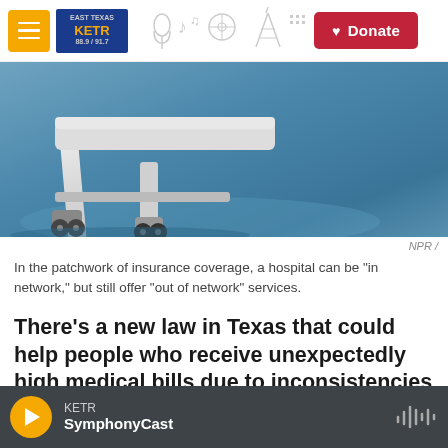[Figure (screenshot): KETR NPR radio station website navigation bar with hamburger menu, KETR logo, sketch radio icons, and red Donate button]
[Figure (photo): Close-up photo of hospital bed wheels on a blue floor, representing medical/insurance context]
NPR /
In the patchwork of insurance coverage, a hospital can be "in network," but still offer "out of network" services.
There’s a new law in Texas that could help people who receive unexpectedly high medical bills due to inconsistencies in their health insurance policy.
Audio transcript
[Figure (screenshot): Audio player bar at the bottom showing KETR SymphonyCast with orange play button and waveform icon on dark background]